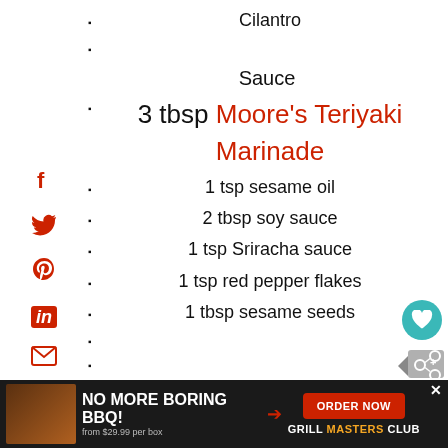Cilantro
Sauce
3 tbsp Moore's Teriyaki Marinade
1 tsp sesame oil
2 tbsp soy sauce
1 tsp Sriracha sauce
1 tsp red pepper flakes
1 tbsp sesame seeds
[Figure (infographic): Social media share sidebar with Facebook, Twitter, Pinterest, LinkedIn, Email, Print icons in red]
[Figure (infographic): Ad banner: NO MORE BORING BBQ! from $29.99 per box, ORDER NOW button, GRILL MASTERS CLUB. 'What's Next' Crispy Chicken promo.]